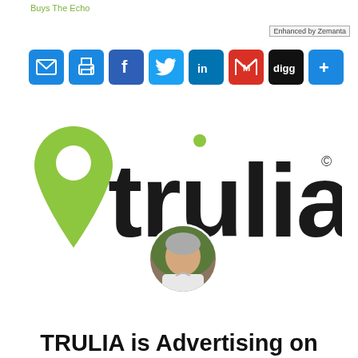Buys The Echo
[Figure (screenshot): Enhanced by Zemanta badge with image placeholder]
[Figure (infographic): Social sharing bar with email, print, Facebook, Twitter, LinkedIn, Gmail, Digg, and more buttons]
[Figure (logo): Trulia logo with green map pin icon and bold 'trulia' wordmark with registered trademark symbol, plus a circular author photo below]
TRULIA is Advertising on